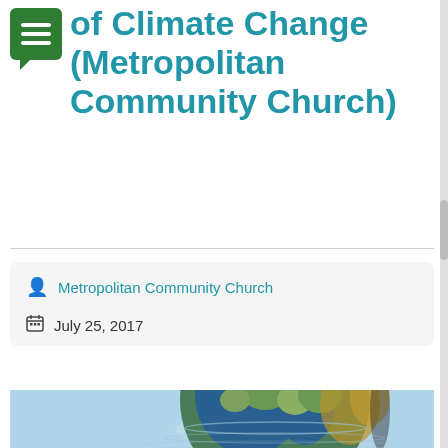of Climate Change (Metropolitan Community Church)
Metropolitan Community Church
July 25, 2017
[Figure (photo): A globe of the Earth submerged halfway in water, reflecting on the water surface, representing climate change and rising sea levels.]